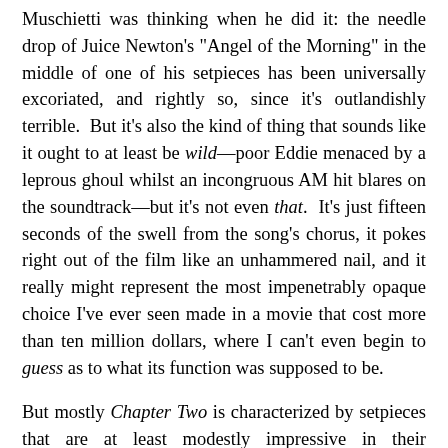Muschietti was thinking when he did it: the needle drop of Juice Newton's "Angel of the Morning" in the middle of one of his setpieces has been universally excoriated, and rightly so, since it's outlandishly terrible. But it's also the kind of thing that sounds like it ought to at least be wild—poor Eddie menaced by a leprous ghoul whilst an incongruous AM hit blares on the soundtrack—but it's not even that. It's just fifteen seconds of the swell from the song's chorus, it pokes right out of the film like an unhammered nail, and it really might represent the most impenetrably opaque choice I've ever seen made in a movie that cost more than ten million dollars, where I can't even begin to guess as to what its function was supposed to be.
But mostly Chapter Two is characterized by setpieces that are at least modestly impressive in their imagination and staging, trying so hard that trying hard seems to be at least half the point, and since you're stuck with a great deal of it, best to find it charming since the alternative is to wither away. It's funhouse horror, figuratively. In one triumphant moment, it's funhouse horror literally, and it's in the heart of a carnival twisted by illusion that Chapter Two finds its